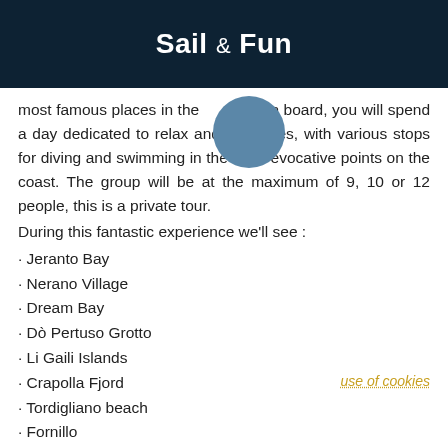Sail & Fun
most famous places in the [image]. On board, you will spend a day dedicated to relax and [image]eries, with various stops for diving and swimming in the most evocative points on the coast. The group will be at the maximum of 9, 10 or 12 people, this is a private tour.
During this fantastic experience we'll see :
Jeranto Bay
Nerano Village
Dream Bay
Dò Pertuso Grotto
Li Gaili Islands
Crapolla Fjord
Tordigliano beach
Fornillo
Positano
use of cookies